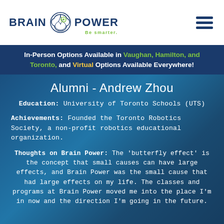[Figure (logo): Brain Power logo with brain icon and tagline 'Be smarter.']
In-Person Options Available in Vaughan, Hamilton, and Toronto, and Virtual Options Available Everywhere!
Alumni - Andrew Zhou
Education: University of Toronto Schools (UTS)
Achievements: Founded the Toronto Robotics Society, a non-profit robotics educational organization.
Thoughts on Brain Power: The 'butterfly effect' is the concept that small causes can have large effects, and Brain Power was the small cause that had large effects on my life. The classes and programs at Brain Power moved me into the place I'm in now and the direction I'm going in the future.